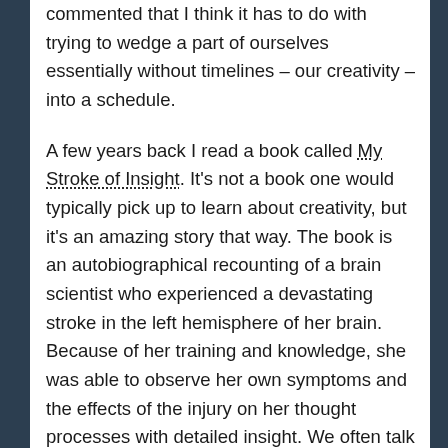commented that I think it has to do with trying to wedge a part of ourselves essentially without timelines – our creativity – into a schedule.
A few years back I read a book called My Stroke of Insight. It's not a book one would typically pick up to learn about creativity, but it's an amazing story that way. The book is an autobiographical recounting of a brain scientist who experienced a devastating stroke in the left hemisphere of her brain. Because of her training and knowledge, she was able to observe her own symptoms and the effects of the injury on her thought processes with detailed insight. We often talk about the left brain being in charge of math, logic and other linear concepts while the right brain is our creative, language and